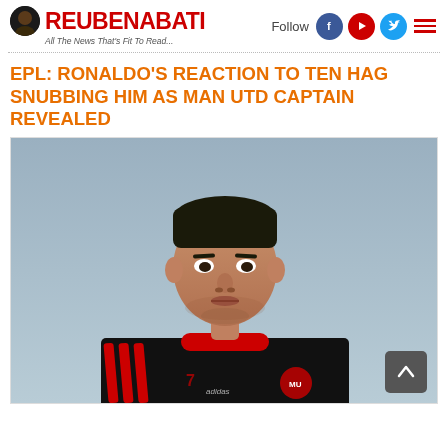ReubenAbati - All The News That's Fit To Read...
EPL: RONALDO'S REACTION TO TEN HAG SNUBBING HIM AS MAN UTD CAPTAIN REVEALED
[Figure (photo): Cristiano Ronaldo wearing a black Manchester United training jersey with red Adidas stripes, looking forward with a serious expression, against a light blue-grey background.]